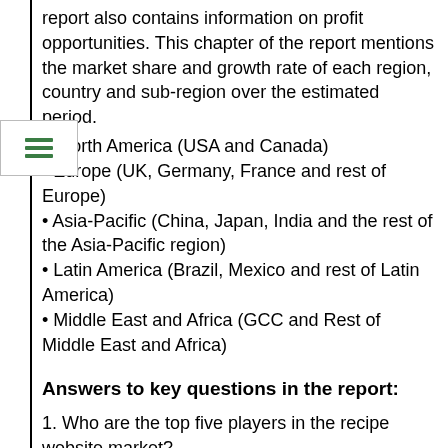report also contains information on profit opportunities. This chapter of the report mentions the market share and growth rate of each region, country and sub-region over the estimated period.
North America (USA and Canada)
Europe (UK, Germany, France and rest of Europe)
Asia-Pacific (China, Japan, India and the rest of the Asia-Pacific region)
Latin America (Brazil, Mexico and rest of Latin America)
Middle East and Africa (GCC and Rest of Middle East and Africa)
Answers to key questions in the report:
1. Who are the top five players in the recipe website market?